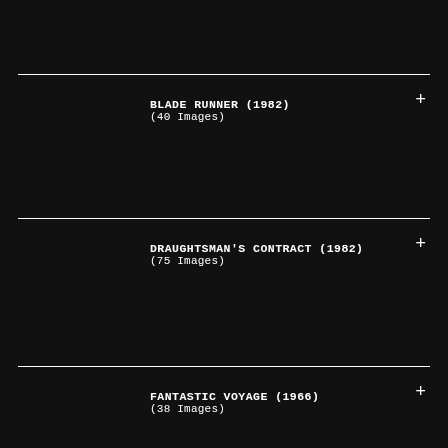BLADE RUNNER (1982)
(40 Images)
DRAUGHTSMAN'S CONTRACT (1982)
(75 Images)
FANTASTIC VOYAGE (1966)
(38 Images)